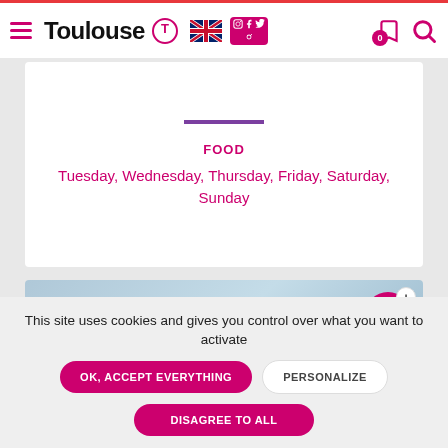Toulouse
FOOD
Tuesday, Wednesday, Thursday, Friday, Saturday, Sunday
[Figure (other): Light blue gradient image area with pink bookmark-add button]
This site uses cookies and gives you control over what you want to activate
OK, ACCEPT EVERYTHING
PERSONALIZE
DISAGREE TO ALL